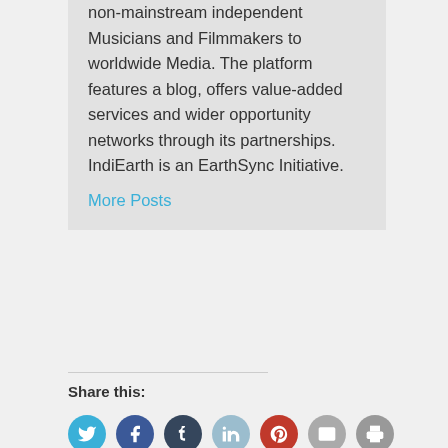non-mainstream independent Musicians and Filmmakers to worldwide Media. The platform features a blog, offers value-added services and wider opportunity networks through its partnerships. IndiEarth is an EarthSync Initiative.
More Posts
Share this: